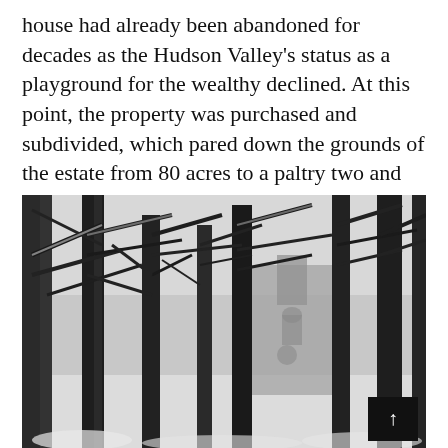house had already been abandoned for decades as the Hudson Valley's status as a playground for the wealthy declined. At this point, the property was purchased and subdivided, which pared down the grounds of the estate from 80 acres to a paltry two and half.
[Figure (photo): Black and white photograph of bare winter trees with a stone building or ruins visible through the branches in the background. A small black square with an upward arrow icon appears in the lower right corner of the image.]